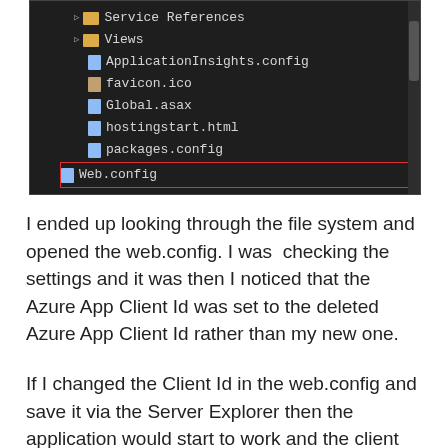[Figure (screenshot): Visual Studio file explorer tree showing project files including Service References, Views, ApplicationInsights.config, favicon.ico, Global.asax, hostingstart.html, packages.config, Web.config (highlighted with red border), and Log Files]
I ended up looking through the file system and opened the web.config. I was  checking the settings and it was then I noticed that the Azure App Client Id was set to the deleted Azure App Client Id rather than my new one.
If I changed the Client Id in the web.config and save it via the Server Explorer then the application would start to work and the client could authenticate.